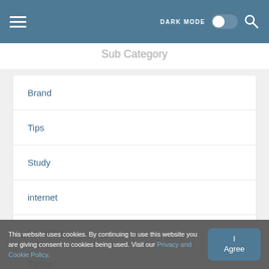DARK MODE [toggle] [search]
Sub Category
Brand
Tips
Study
internet
Gambling
TikTok
This website uses cookies. By continuing to use this website you are giving consent to cookies being used. Visit our Privacy and Cookie Policy.